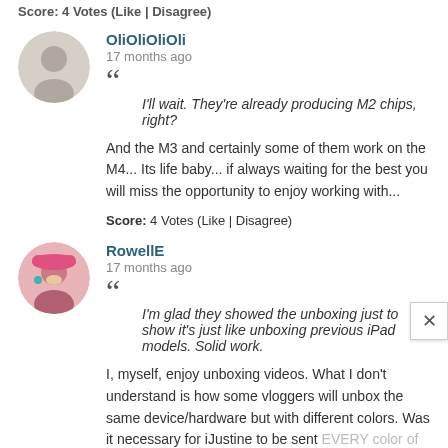Score: 4 Votes (Like | Disagree)
OliOliOliOli
17 months ago
I'll wait. They're already producing M2 chips, right?
And the M3 and certainly some of them work on the M4... Its life baby... if always waiting for the best you will miss the opportunity to enjoy working with...
Score: 4 Votes (Like | Disagree)
RowellE
17 months ago
I'm glad they showed the unboxing just to show it's just like unboxing previous iPad models. Solid work.
I, myself, enjoy unboxing videos. What I don't understand is how some vloggers will unbox the same device/hardware but with different colors. Was it necessary for iJustine to be sent EVERY color of the iMac to unbox? No.
What's even worse is when some vloggers will do a video of